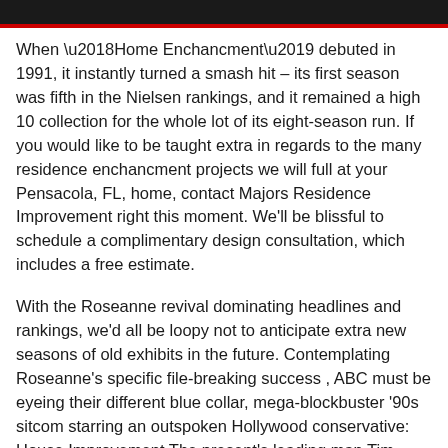When ‘Home Enchancment’ debuted in 1991, it instantly turned a smash hit – its first season was fifth in the Nielsen rankings, and it remained a high 10 collection for the whole lot of its eight-season run. If you would like to be taught extra in regards to the many residence enchancment projects we will full at your Pensacola, FL, home, contact Majors Residence Improvement right this moment. We’ll be blissful to schedule a complimentary design consultation, which includes a free estimate.
With the Roseanne revival dominating headlines and rankings, we’d all be loopy not to anticipate extra new seasons of old exhibits in the future. Contemplating Roseanne’s specific file-breaking success , ABC must be eyeing their different blue collar, mega-blockbuster ’90s sitcom starring an outspoken Hollywood conservative: House Improvement The present’s leading man Tim Allen has expressed curiosity in strapping on a device belt once more , and the time sure does seem